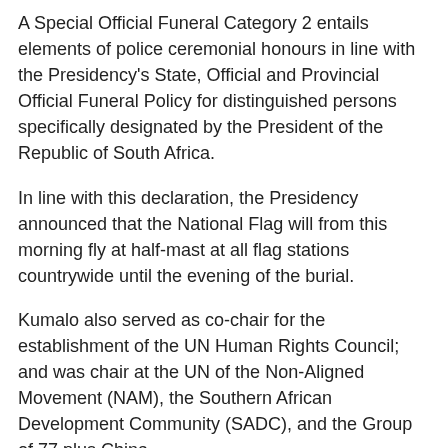A Special Official Funeral Category 2 entails elements of police ceremonial honours in line with the Presidency's State, Official and Provincial Official Funeral Policy for distinguished persons specifically designated by the President of the Republic of South Africa.
In line with this declaration, the Presidency announced that the National Flag will from this morning fly at half-mast at all flag stations countrywide until the evening of the burial.
Kumalo also served as co-chair for the establishment of the UN Human Rights Council; and was chair at the UN of the Non-Aligned Movement (NAM), the Southern African Development Community (SADC), and the Group of 77 plus China.
As an anti-apartheid campaigner, Kumalo played an influential role in the process that led to the UN's declaration of apartheid as a crime against humanity. – SAnews.gov.za
Share this post: